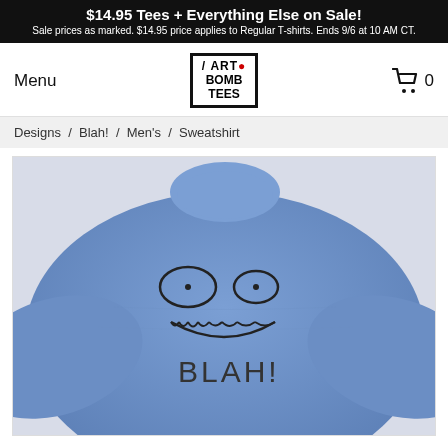$14.95 Tees + Everything Else on Sale! Sale prices as marked. $14.95 price applies to Regular T-shirts. Ends 9/6 at 10 AM CT.
Menu
[Figure (logo): Art Bomb Tees logo — black bordered box with ART BOMB TEES text]
[Figure (other): Shopping cart icon with 0]
Designs / Blah! / Men's / Sweatshirt
[Figure (photo): Blue heather crewneck sweatshirt with cartoon face and BLAH! text printed on front]